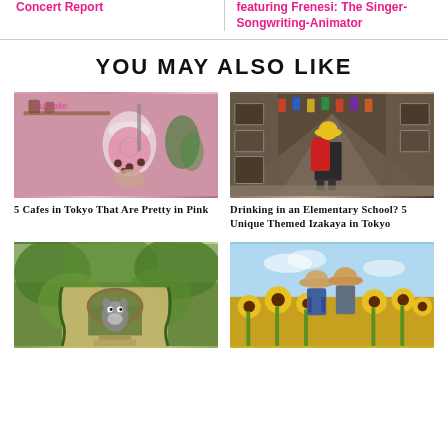Concert Report
featuring Frenesi: The Singer-Songwriting-Animator
YOU MAY ALSO LIKE
[Figure (photo): Hand holding a pink boba milk tea drink in a pink-themed cafe]
5 Cafes in Tokyo That Are Pretty in Pink
[Figure (photo): Child with yellow hat and red backpack walking down a decorated school hallway]
Drinking in an Elementary School? 5 Unique Themed Izakaya in Tokyo
[Figure (photo): Green ivy-covered building with round window and Totoro figure, Ghibli-style]
[Figure (photo): Two people wearing sun hats standing in a sunflower field]